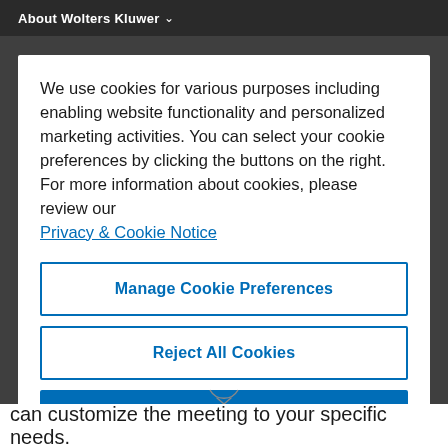About Wolters Kluwer
We use cookies for various purposes including enabling website functionality and personalized marketing activities. You can select your cookie preferences by clicking the buttons on the right. For more information about cookies, please review our Privacy & Cookie Notice
Manage Cookie Preferences
Reject All Cookies
Accept All Cookies
can customize the meeting to your specific needs.